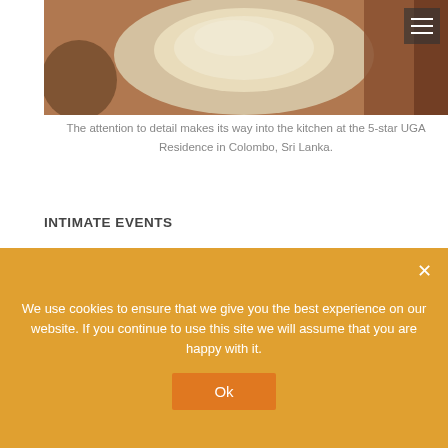[Figure (photo): Close-up photo of food bowls/ingredients at the 5-star UGA Residence kitchen in Colombo, Sri Lanka. A hamburger menu icon appears in the upper right corner.]
The attention to detail makes its way into the kitchen at the 5-star UGA Residence in Colombo, Sri Lanka.
INTIMATE EVENTS
Aside from the main restaurant, the Residence also boasts two private function rooms, capable of accommodating dinner-parties of up to 6 and 14 respectively. These rooms can also be reconfigured for other functions, including business meetings and small receptions.
DINING IN YOUR ROOM
As you might expect, 24-hour room service is standard at the
We use cookies to ensure that we give you the best experience on our website. If you continue to use this site we will assume that you are happy with it.